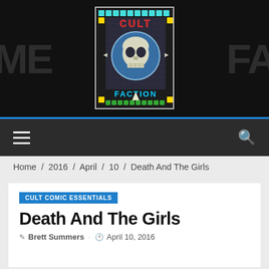[Figure (logo): Cult Faction logo — skull on a blue/teal grid board with 'CULT' in red and 'FACTION' in blue neon text, surrounded by colorful tile border]
Navigation bar with hamburger menu icon and search icon on dark background
Home / 2016 / April / 10 / Death And The Girls
CULT COMIC ESSENTIALS
Death And The Girls
Brett Summers · April 10, 2016